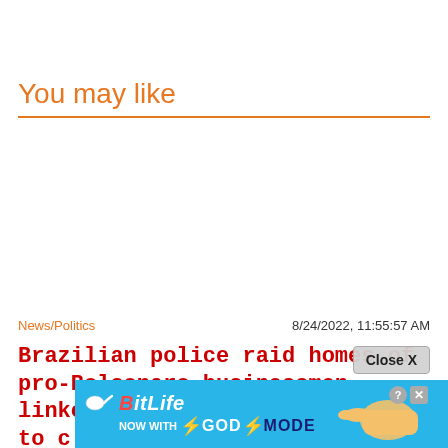You may like
News/Politics
8/24/2022, 11:55:57 AM
Brazilian police raid homes of pro-Bolsonaro businessmen linked to c
[Figure (screenshot): BitLife advertisement banner with 'NOW WITH GOD MODE' text and hand pointing graphic, with a Close X button overlay]